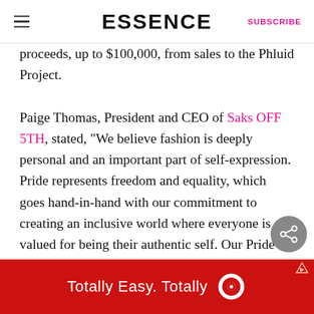ESSENCE | SUBSCRIBE
proceeds, up to $100,000, from sales to the Phluid Project.
Paige Thomas, President and CEO of Saks OFF 5TH, stated, “We believe fashion is deeply personal and an important part of self-expression. Pride represents freedom and equality, which goes hand-in-hand with our commitment to creating an inclusive world where everyone is valued for being their authentic self. Our Pride campaign and ongoing relationship with the Phluid Project are two ways we can drive meaningful change for a
[Figure (other): Target advertisement banner reading 'Totally Easy. Totally' with Target bullseye logo on red background]